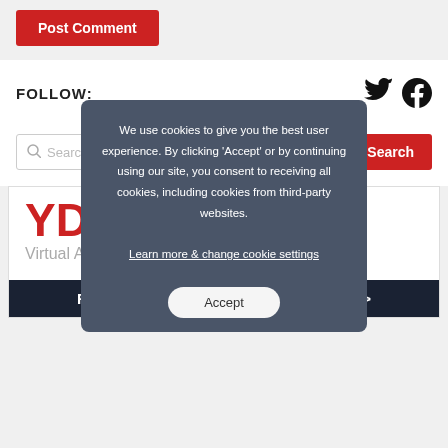[Figure (other): Post Comment button — red rectangular button with white text]
FOLLOW:
[Figure (other): Twitter and Facebook social media icons]
[Figure (other): Search bar with magnifying glass icon and red Search button]
[Figure (other): YD Sports Desk logo banner with subtitle 'Virtual Assistant / Translator' and bottom bar 'Find out how I can help your business >>']
We use cookies to give you the best user experience. By clicking 'Accept' or by continuing using our site, you consent to receiving all cookies, including cookies from third-party websites. Learn more & change cookie settings
[Figure (other): Accept button for cookie consent]